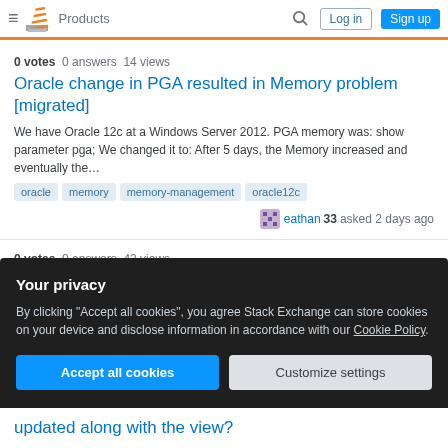≡ [Stack Overflow logo] Products 🔍 Log in Sign up
0 votes  0 answers  14 views
Oracle change in PGA resulted in Memory problem [migrated]
We have Oracle 12c at a Windows Server 2012. PGA memory was: show parameter pga; We changed it to: After 5 days, the Memory increased and eventually the…
oracle  memory  memory-management  oracle12c
eathan 33 asked 2 days ago
0 votes  0 answers  42 views
Why I am getting 'missing right parenthesis' error here?
My SQL queries are dynamically generated by ESAPI encoder by using Oracle codec. Below is one of the sample queries. SELECT * FROM EX_TABLE WHERE…
Your privacy
By clicking "Accept all cookies", you agree Stack Exchange can store cookies on your device and disclose information in accordance with our Cookie Policy.
Accept all cookies   Customize settings
updated along with the view?